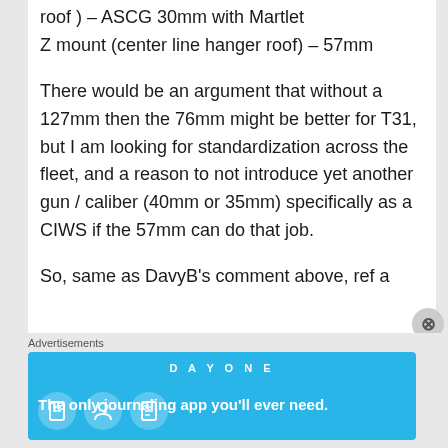roof ) – ASCG 30mm with Martlet
Z mount (center line hanger roof) – 57mm
There would be an argument that without a 127mm then the 76mm might be better for T31, but I am looking for standardization across the fleet, and a reason to not introduce yet another gun / caliber (40mm or 35mm) specifically as a CIWS if the 57mm can do that job.
So, same as DavyB's comment above, ref a
[Figure (other): Day One journaling app advertisement banner with blue background, showing app icons and text 'The only journaling app you'll ever need.']